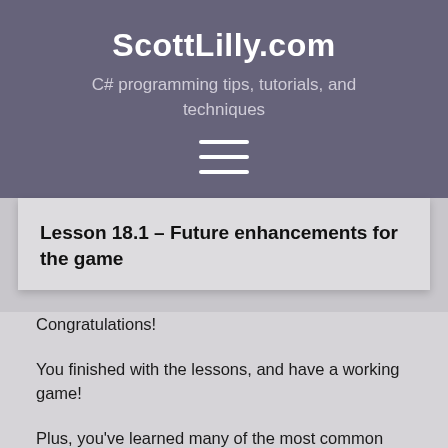ScottLilly.com
C# programming tips, tutorials, and techniques
[Figure (other): Hamburger menu icon with three horizontal white lines]
Lesson 18.1 – Future enhancements for the game
Congratulations!
You finished with the lessons, and have a working game!
Plus, you've learned many of the most common